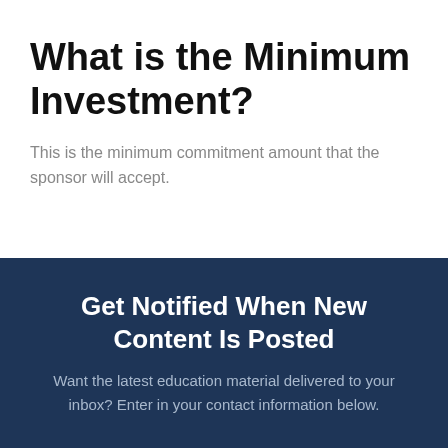What is the Minimum Investment?
This is the minimum commitment amount that the sponsor will accept.
Get Notified When New Content Is Posted
Want the latest education material delivered to your inbox? Enter in your contact information below.